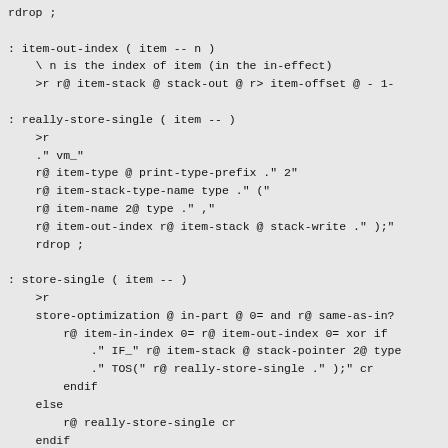rdrop ;

: item-out-index ( item -- n )
    \ n is the index of item (in the in-effect)
    >r r@ item-stack @ stack-out @ r> item-offset @ - 1-

: really-store-single ( item -- )
    >r
    ." vm_"
    r@ item-type @ print-type-prefix ." 2"
    r@ item-stack-type-name type ." ("
    r@ item-name 2@ type ." ,"
    r@ item-out-index r@ item-stack @ stack-write ." );"
    rdrop ;

: store-single ( item -- )
    >r
    store-optimization @ in-part @ 0= and r@ same-as-in?
        r@ item-in-index 0= r@ item-out-index 0= xor if
            ." IF_" r@ item-stack @ stack-pointer 2@ type
            ." TOS(" r@ really-store-single ." );" cr
        endif
    else
        r@ really-store-single cr
    endif
    rdrop ;

: store-double ( item -- )
\ !! store optimization is not performed, because it is n
>r